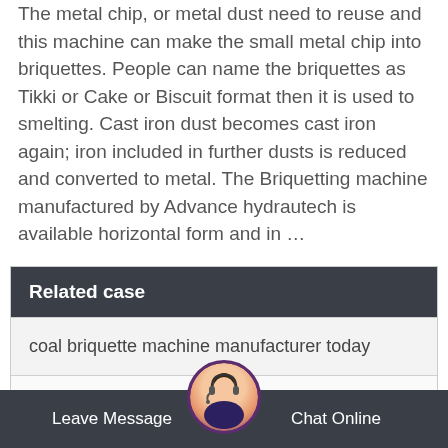The metal chip, or metal dust need to reuse and this machine can make the small metal chip into briquettes. People can name the briquettes as Tikki or Cake or Biscuit format then it is used to smelting. Cast iron dust becomes cast iron again; iron included in further dusts is reduced and converted to metal. The Briquetting machine manufactured by Advance hydrautech is available horizontal form and in …
Related case
coal briquette machine manufacturer today
hp 500 briquetting machine for sale
charcoal ball press machine manufacturer genshin
briquette manufacturing … ung
Leave Message   Chat Online